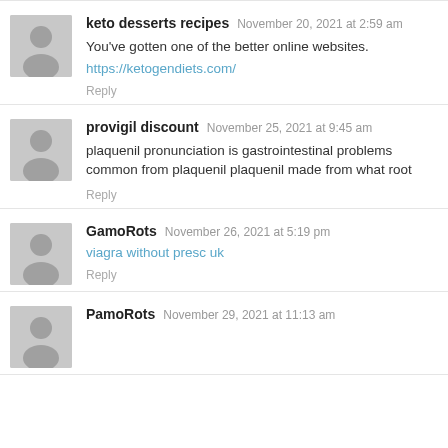keto desserts recipes  November 20, 2021 at 2:59 am
You've gotten one of the better online websites.
https://ketogendiets.com/
Reply
provigil discount  November 25, 2021 at 9:45 am
plaquenil pronunciation is gastrointestinal problems common from plaquenil plaquenil made from what root
Reply
GamoRots  November 26, 2021 at 5:19 pm
viagra without presc uk
Reply
PamoRots  November 29, 2021 at 11:13 am